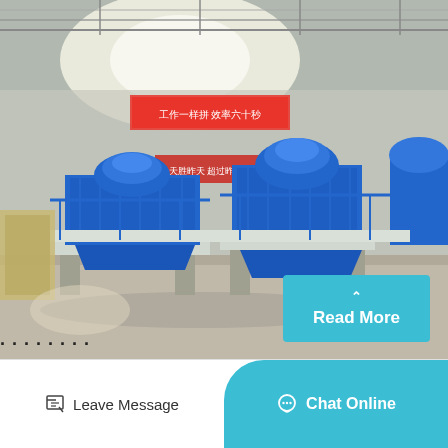[Figure (photo): Industrial factory floor showing multiple large blue VSI (Vertical Shaft Impact) crusher machines lined up inside a manufacturing facility. The machines have blue painted metal frames, mesh guards, and cylindrical tops. Chinese text banners are visible in the background. The factory has a steel-framed roof structure.]
Read More
Leave Message
Chat Online